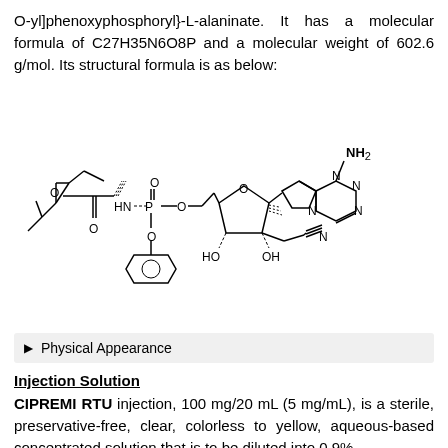O-yl]phenoxyphosphoryl}-L-alaninate. It has a molecular formula of C27H35N6O8P and a molecular weight of 602.6 g/mol. Its structural formula is as below:
[Figure (engineering-diagram): Structural chemical formula of a nucleotide analog compound showing a phosphoramidate prodrug with an adenine nucleoside core, ribose sugar with OH groups, a phenoxy group, and an ethyl ester side chain. Labels include NH2, N, HN, P, O, HO, OH groups with bond lines and stereo bonds.]
Physical Appearance
Injection Solution
CIPREMI RTU injection, 100 mg/20 mL (5 mg/mL), is a sterile, preservative-free, clear, colorless to yellow, aqueous-based concentrated solution that is to be diluted into 0.9%